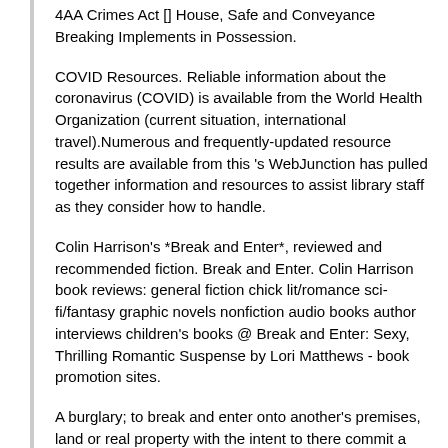4AA Crimes Act [] House, Safe and Conveyance Breaking Implements in Possession.
COVID Resources. Reliable information about the coronavirus (COVID) is available from the World Health Organization (current situation, international travel).Numerous and frequently-updated resource results are available from this 's WebJunction has pulled together information and resources to assist library staff as they consider how to handle.
Colin Harrison's *Break and Enter*, reviewed and recommended fiction. Break and Enter. Colin Harrison book reviews: general fiction chick lit/romance sci-fi/fantasy graphic novels nonfiction audio books author interviews children's books @ Break and Enter: Sexy, Thrilling Romantic Suspense by Lori Matthews - book promotion sites.
A burglary; to break and enter onto another's premises, land or real property with the intent to there commit a crime, most typically theft. A term used by some common law jurisdiction in preference to burglary but which, with distinctions of points of detail, prohibits the same conduct.